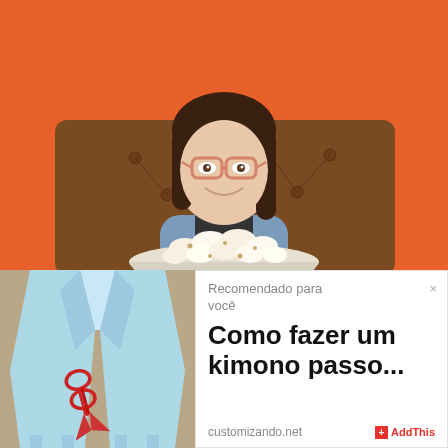[Figure (photo): Young woman with glasses smiling, sitting on a brown tufted sofa in front of an orange wall, holding a large bowl of popcorn. She is wearing a denim jacket over a dark top.]
[Figure (photo): Light blue kimono/cardigan laid flat on a surface, with red scissors placed on top of it.]
Recomendado para você
Como fazer um kimono passo...
customizando.net
AddThis